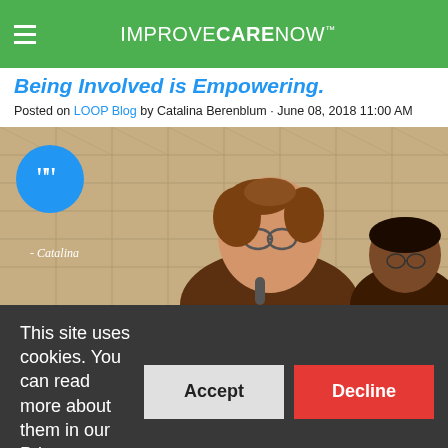IMPROVECARENOW™
Being Involved is Empowering.
Posted on LOOP Blog by Catalina Berenblum · June 08, 2018 11:00 AM
[Figure (photo): Photo of Catalina Berenblum speaking at a podium with a quote bubble icon and her signature, another person visible in background]
This site uses cookies. You can read more about them in our Privacy Policy.